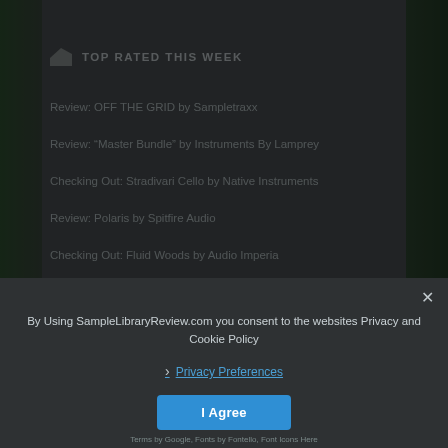TOP RATED THIS WEEK
Review: OFF THE GRID by Sampletraxx
Review: “Master Bundle” by Instruments By Lamprey
Checking Out: Stradivari Cello by Native Instruments
Review: Polaris by Spitfire Audio
Checking Out: Fluid Woods by Audio Imperia
First Look: Trailer Braams II by Fallout Music Group
Review: Royal Albert Hall Organ by James Everingham and Enigma Recordings
By Using SampleLibraryReview.com you consent to the websites Privacy and Cookie Policy
› Privacy Preferences
I Agree
Terms by Google, Fonts by Fontello, Font Icons Here